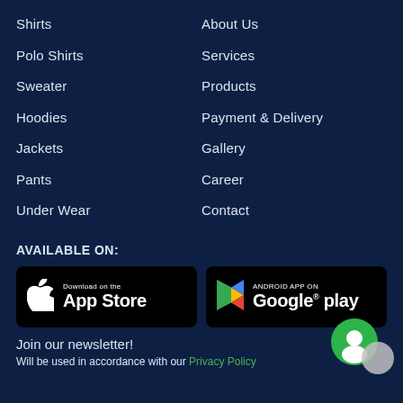Shirts
Polo Shirts
Sweater
Hoodies
Jackets
Pants
Under Wear
About Us
Services
Products
Payment & Delivery
Gallery
Career
Contact
AVAILABLE ON:
[Figure (logo): Download on the App Store badge]
[Figure (logo): Android App on Google Play badge]
Join our newsletter!
Will be used in accordance with our Privacy Policy